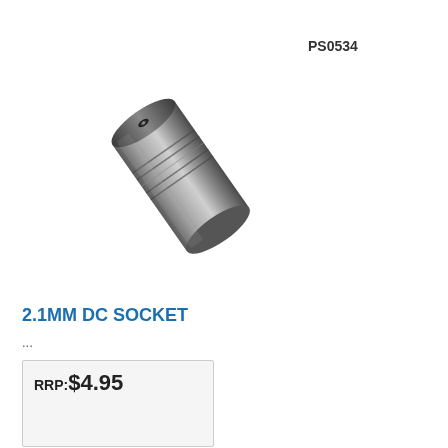PS0534
[Figure (photo): A cylindrical metallic 2.1mm DC socket connector photographed at an angle, showing the knurled body and center pin opening.]
2.1MM DC SOCKET
...
RRP:$4.95